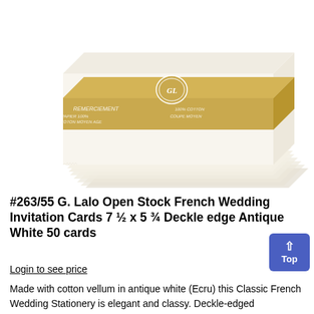[Figure (photo): A stack of antique white (ecru) cotton vellum invitation cards with a gold/tan paper band wrapper around the top portion. The wrapper has text in French including 'REMERCIEMENT' and features a circular GL logo emblem. The cards have deckle edges and are stacked at an angle on a white background.]
#263/55 G. Lalo Open Stock French Wedding Invitation Cards 7 ½ x 5 ¾ Deckle edge Antique White 50 cards
Login to see price
Made with cotton vellum in antique white (Ecru) this Classic French Wedding Stationery is elegant and classy. Deckle-edged